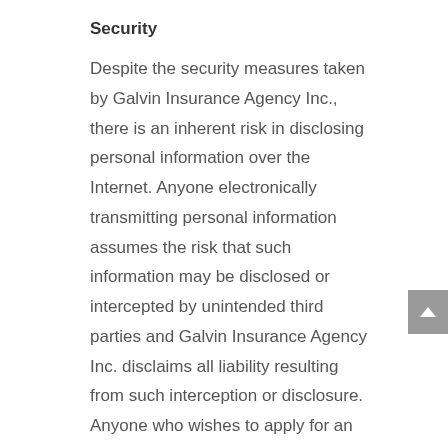Security
Despite the security measures taken by Galvin Insurance Agency Inc., there is an inherent risk in disclosing personal information over the Internet. Anyone electronically transmitting personal information assumes the risk that such information may be disclosed or intercepted by unintended third parties and Galvin Insurance Agency Inc. disclaims all liability resulting from such interception or disclosure. Anyone who wishes to apply for an insurance quote who is concerned about maintaining the security of their personal information may mail the information to Galvin Insurance Agency Inc.